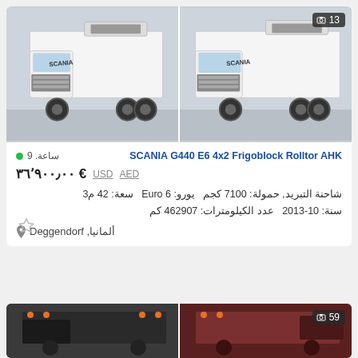[Figure (photo): Two white Scania refrigerator trucks side by side, left image without badge, right image with photo count badge showing 13]
9 ساعة.
SCANIA G440 E6 4x2 Frigoblock Rolltor AHK
€ ٣٦٬٩٠٠٫٠٠  USD  AED
شاحنة التبريد, حمولة: 7100 كجم  يورو: Euro 6  سعة: 42 م3
سنة: 10-2013  عدد الكيلومترات: 462907 كم
ألمانيا, Deggendorf
[Figure (photo): Two dark-colored trucks partially visible at bottom of page, right image with photo count badge showing 59]